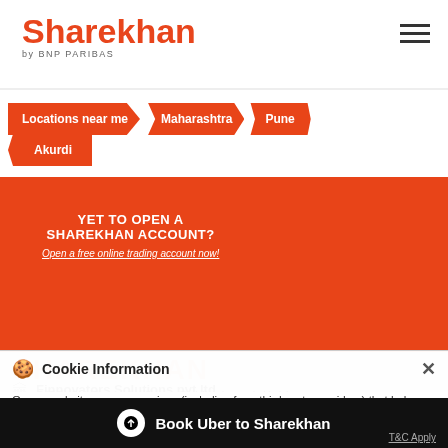[Figure (logo): Sharekhan by BNP PARIBAS logo in red/orange]
[Figure (infographic): Hamburger menu icon]
Locations near me > Maharashtra > Pune
Akurdi
[Figure (infographic): Banner: YET TO OPEN A SHAREKHAN ACCOUNT? Open a free online trading account now! with laptop illustration and app store buttons]
Cookie Information
On our website, we use services (including from third-party providers) that help us to improve our online presence (optimization of website) and to display content that is geared to their interests. We need your consent before being able to use these services.
SHAREKHAN
Finnovators Solutions pvt ltd
B/20, Jai Ganesh Vison, Siddhivinayak Kohinoor Akurdi
Book Uber to Sharekhan
T&C Apply